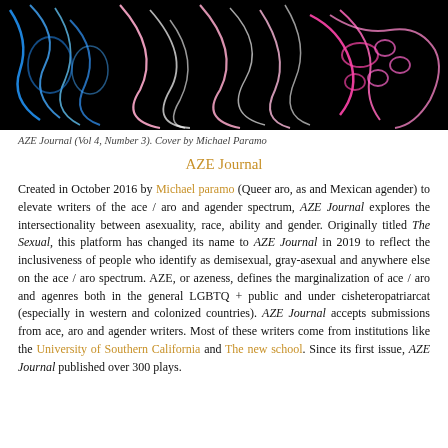[Figure (photo): Neon art illustration on black background, showing stylized animal or abstract figures outlined in blue, pink, and white neon light.]
AZE Journal (Vol 4, Number 3). Cover by Michael Paramo
AZE Journal
Created in October 2016 by Michael paramo (Queer aro, as and Mexican agender) to elevate writers of the ace / aro and agender spectrum, AZE Journal explores the intersectionality between asexuality, race, ability and gender. Originally titled The Sexual, this platform has changed its name to AZE Journal in 2019 to reflect the inclusiveness of people who identify as demisexual, gray-asexual and anywhere else on the ace / aro spectrum. AZE, or azeness, defines the marginalization of ace / aro and agenres both in the general LGBTQ + public and under cisheteropatriarcat (especially in western and colonized countries). AZE Journal accepts submissions from ace, aro and agender writers. Most of these writers come from institutions like the University of Southern California and The new school. Since its first issue, AZE Journal published over 300 plays.